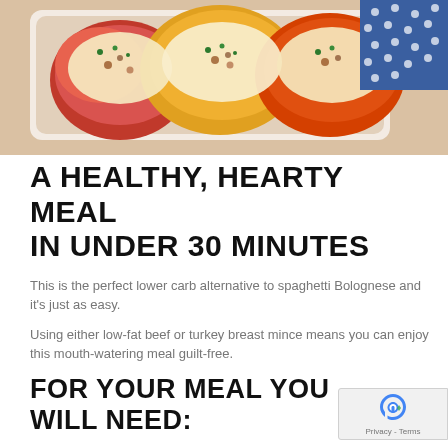[Figure (photo): Overhead photo of colorful stuffed bell peppers (red, orange, yellow) filled with meat and melted cheese, garnished with green herbs, in a white baking dish, with a blue polka-dot fabric in the background.]
A HEALTHY, HEARTY MEAL IN UNDER 30 MINUTES
This is the perfect lower carb alternative to spaghetti Bolognese and it's just as easy.
Using either low-fat beef or turkey breast mince means you can enjoy this mouth-watering meal guilt-free.
FOR YOUR MEAL YOU WILL NEED:
3 large red or yellow peppers
Tbsp Coconut oil